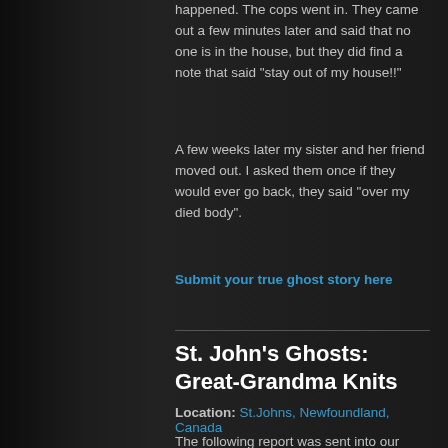happened. The cops went in. They came out a few minutes later and said that no one is in the house, but they did find a note that said “stay out of my house!!”
A few weeks later my sister and her friend moved out. I asked them once if they would ever go back, they said “over my died body”.
Submit your true ghost story here
St. John’s Ghosts: Great-Grandma Knits
Location: St.Johns, Newfoundland, Canada
The following report was sent into our website by